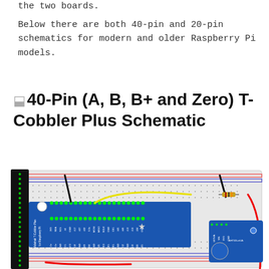the two boards.
Below there are both 40-pin and 20-pin schematics for modern and older Raspberry Pi models.
40-Pin (A, B, B+ and Zero) T-Cobbler Plus Schematic
[Figure (schematic): Photo of an Adafruit T-Cobbler Plus for Raspberry Pi mounted on a breadboard, with wires and a small sensor board connected. The blue T-Cobbler Plus board shows pin labels including 3V3, SDA, SCL, GND, #17, #27, #22, 3.3V, MOSI, MISO, SCLK, GND, CE1, #45, #46, #13, #19, #24, GND, and others. A yellow wire, red wire, and resistor component are visible.]